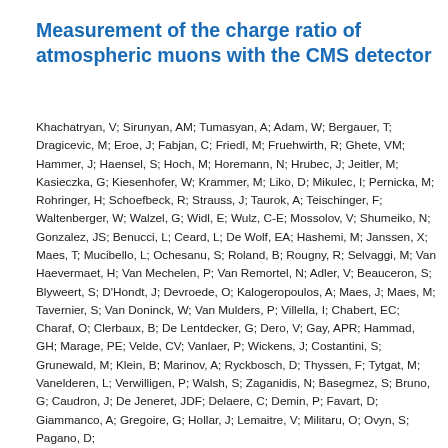Measurement of the charge ratio of atmospheric muons with the CMS detector
Khachatryan, V; Sirunyan, AM; Tumasyan, A; Adam, W; Bergauer, T; Dragicevic, M; Eroe, J; Fabjan, C; Friedl, M; Fruehwirth, R; Ghete, VM; Hammer, J; Haensel, S; Hoch, M; Horemann, N; Hrubec, J; Jeitler, M; Kasieczka, G; Kiesenhofer, W; Krammer, M; Liko, D; Mikulec, I; Pernicka, M; Rohringer, H; Schoefbeck, R; Strauss, J; Taurok, A; Teischinger, F; Waltenberger, W; Walzel, G; Widl, E; Wulz, C-E; Mossolov, V; Shumeiko, N; Gonzalez, JS; Benucci, L; Ceard, L; De Wolf, EA; Hashemi, M; Janssen, X; Maes, T; Mucibello, L; Ochesanu, S; Roland, B; Rougny, R; Selvaggi, M; Van Haevermaet, H; Van Mechelen, P; Van Remortel, N; Adler, V; Beauceron, S; Blyweert, S; D'Hondt, J; Devroede, O; Kalogeropoulos, A; Maes, J; Maes, M; Tavernier, S; Van Doninck, W; Van Mulders, P; Villella, I; Chabert, EC; Charaf, O; Clerbaux, B; De Lentdecker, G; Dero, V; Gay, APR; Hammad, GH; Marage, PE; Velde, CV; Vanlaer, P; Wickens, J; Costantini, S; Grunewald, M; Klein, B; Marinov, A; Ryckbosch, D; Thyssen, F; Tytgat, M; Vanelderen, L; Verwilligen, P; Walsh, S; Zaganidis, N; Basegmez, S; Bruno, G; Caudron, J; De Jeneret, JDF; Delaere, C; Demin, P; Favart, D; Giammanco, A; Gregoire, G; Hollar, J; Lemaitre, V; Militaru, O; Ovyn, S; Pagano, D;